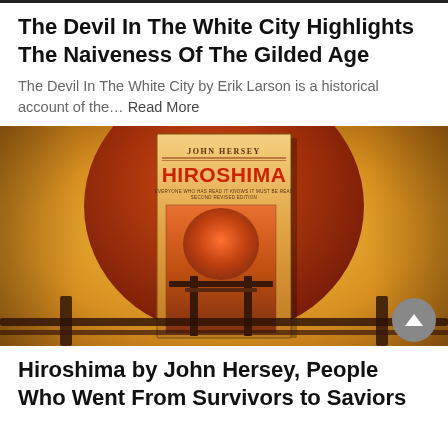The Devil In The White City Highlights The Naiveness Of The Gilded Age
The Devil In The White City by Erik Larson is a historical account of the… Read More
[Figure (photo): Book cover of Hiroshima by John Hersey, featuring a large red sun and a Japanese torii gate silhouette, displayed against a yellow-orange background]
Hiroshima by John Hersey, People Who Went From Survivors to Saviors